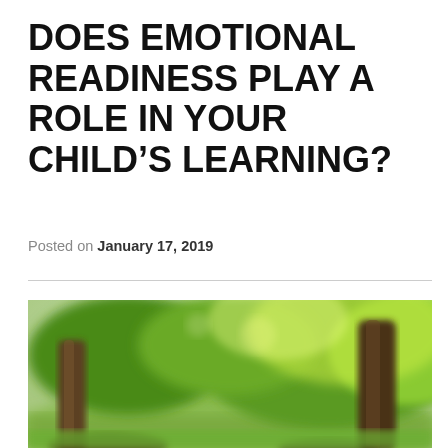DOES EMOTIONAL READINESS PLAY A ROLE IN YOUR CHILD'S LEARNING?
Posted on January 17, 2019
[Figure (photo): Outdoor park scene with trees, green grass, and sunlight filtering through leaves. Blurred background with large tree trunks in foreground.]